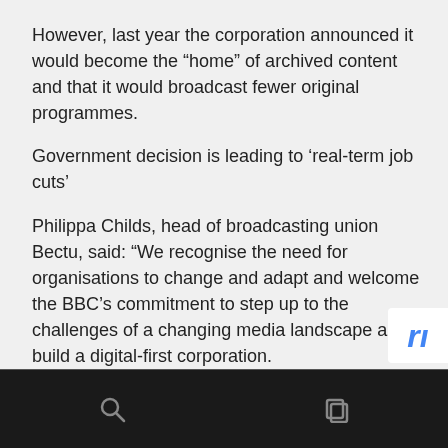However, last year the corporation announced it would become the “home” of archived content and that it would broadcast fewer original programmes.
Government decision is leading to ‘real-term job cuts’
Philippa Childs, head of broadcasting union Bectu, said: “We recognise the need for organisations to change and adapt and welcome the BBC’s commitment to step up to the challenges of a changing media landscape and build a digital-first corporation.
“However, once again we see the impact of poorly judged political decisions on workers as the government’s decision to freeze the licence fee has instigated these real-term job cuts.”